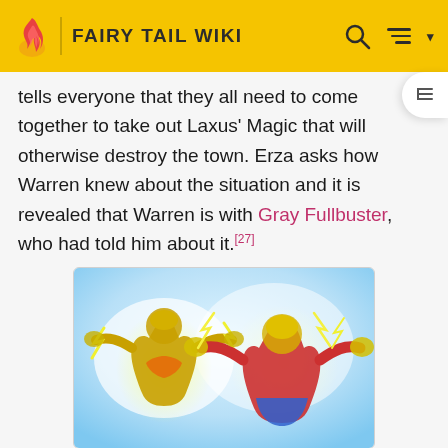FAIRY TAIL WIKI
tells everyone that they all need to come together to take out Laxus' Magic that will otherwise destroy the town. Erza asks how Warren knew about the situation and it is revealed that Warren is with Gray Fullbuster, who had told him about it.[27]
[Figure (illustration): Two anime characters (Warren and Gray) being hit by Thunder Palace's electric effect, surrounded by yellow lightning energy against a light blue/white background]
Warren and Gray hit by Thunder Palace's effect
Then Max, the person Warren beat in the battle festival, raises awareness of how angry he is at Warren for beating him up. This results in everybody complaining to